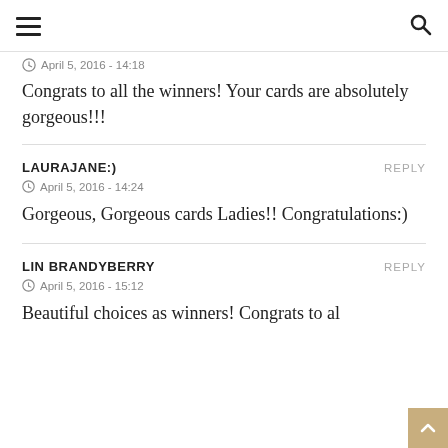≡  [search icon]
April 5, 2016 - 14:18
Congrats to all the winners! Your cards are absolutely gorgeous!!!
LAURAJANE:)
April 5, 2016 - 14:24
Gorgeous, Gorgeous cards Ladies!! Congratulations:)
LIN BRANDYBERRY
April 5, 2016 - 15:12
Beautiful choices as winners! Congrats to al